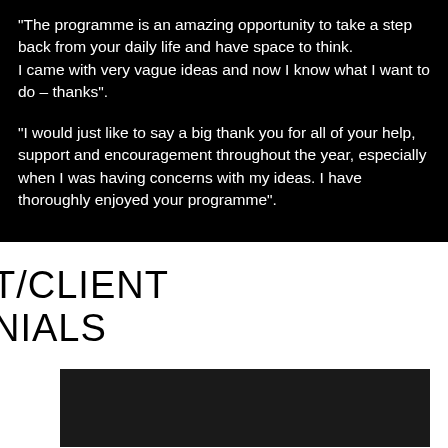"The programme is an amazing opportunity to take a step back from your daily life and have space to think. I came with very vague ideas and now I know what I want to do – thanks".
"I would just like to say a big thank you for all of your help, support and encouragement throughout the year, especially when I was having concerns with my ideas. I have thoroughly enjoyed your programme".
T/CLIENT
NIALS
[Figure (photo): Dark/black rectangular image block at the bottom of the page]